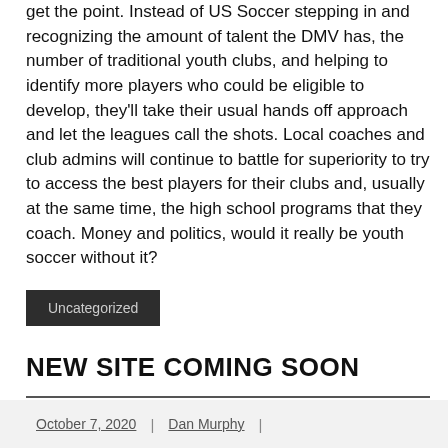get the point. Instead of US Soccer stepping in and recognizing the amount of talent the DMV has, the number of traditional youth clubs, and helping to identify more players who could be eligible to develop, they'll take their usual hands off approach and let the leagues call the shots. Local coaches and club admins will continue to battle for superiority to try to access the best players for their clubs and, usually at the same time, the high school programs that they coach. Money and politics, would it really be youth soccer without it?
Uncategorized
NEW SITE COMING SOON
October 7, 2020 | Dan Murphy |